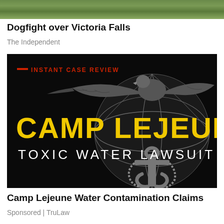[Figure (photo): Partial landscape photo showing rocky terrain with green foliage, cropped at top]
Dogfight over Victoria Falls
The Independent
[Figure (illustration): Advertisement banner on black background showing US Marine Corps Eagle Globe and Anchor emblem in grayscale. Red dash and text 'INSTANT CASE REVIEW' at top left. Large yellow bold text 'CAMP LEJEUNE' and white text 'TOXIC WATER LAWSUIT' overlaid.]
Camp Lejeune Water Contamination Claims
Sponsored | TruLaw